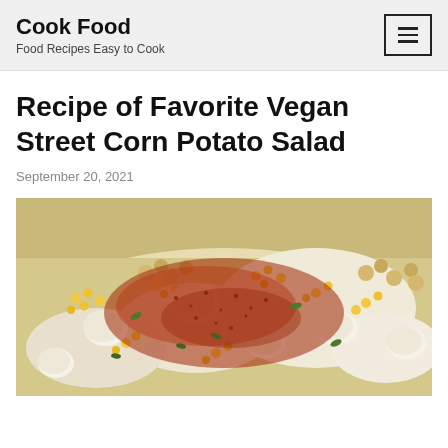Cook Food — Food Recipes Easy to Cook
Recipe of Favorite Vegan Street Corn Potato Salad
September 20, 2021
[Figure (photo): Close-up photograph of vegan street corn potato salad in a bowl, featuring corn kernels, potatoes, creamy sauce, herbs, and a generous dusting of red chili powder/paprika on top.]